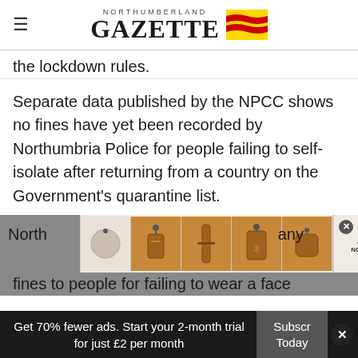NORTHUMBERLAND GAZETTE
the lockdown rules.
Separate data published by the NPCC shows no fines have yet been recorded by Northumbria Police for people failing to self-isolate after returning from a country on the Government's quarantine list.
Northumbria Police has not issued any fines to people for failing to wear a face
Get 70% fewer ads. Start your 2-month trial for just £2 per month
Subscribe Today